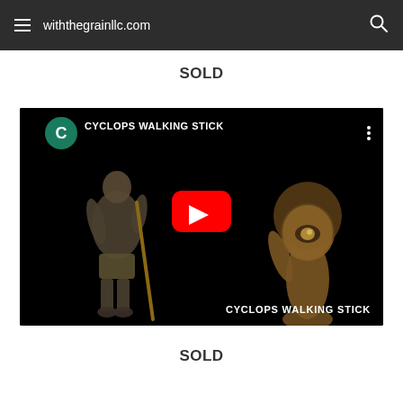withthegrainllc.com
SOLD
[Figure (screenshot): YouTube video thumbnail for 'CYCLOPS WALKING STICK' showing a man holding a walking stick on the left side and a carved wooden cyclops figure on the right, with a red YouTube play button in the center. Channel icon showing letter 'C' on teal background in top left of video.]
SOLD